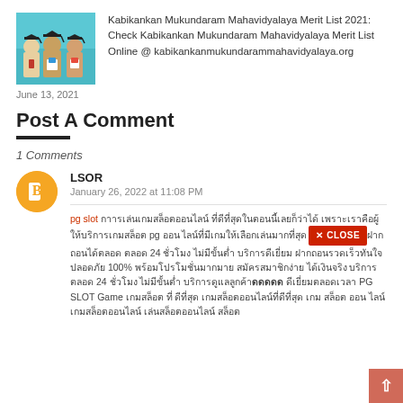[Figure (illustration): Thumbnail image showing illustrated graduates with mortarboards on a teal background]
Kabikankan Mukundaram Mahavidyalaya Merit List 2021: Check Kabikankan Mukundaram Mahavidyalaya Merit List Online @ kabikankanmukundarammahavidyalaya.org
June 13, 2021
Post A Comment
1 Comments
LSOR
January 26, 2022 at 11:08 PM
pg slot [Thai text] pg [Thai text] 24 [Thai text] PG SLOT Game [Thai text]